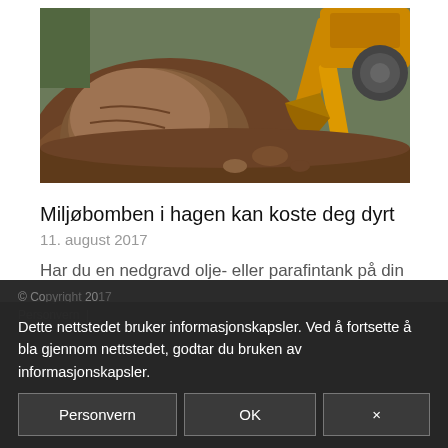[Figure (photo): Excavator bucket digging in soil/dirt, outdoor scene]
Miljøbomben i hagen kan koste deg dyrt
11. august 2017
Har du en nedgravd olje- eller parafintank på din eiendom, har...
Dette nettstedet bruker informasjonskapsler. Ved å fortsette å bla gjennom nettstedet, godtar du bruken av informasjonskapsler. [Buttons: Personvern | OK | ×]